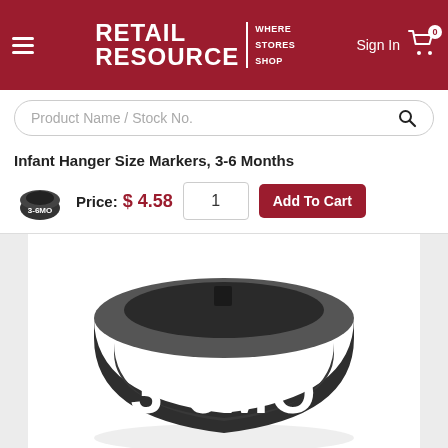[Figure (screenshot): Retail Resource website header with logo, hamburger menu, sign in, and cart icon on dark red background]
[Figure (screenshot): Search bar with placeholder text 'Product Name / Stock No.' and search icon]
Infant Hanger Size Markers, 3-6 Months
[Figure (photo): Small thumbnail photo of a black hanger size marker with text 3-6MO]
Price: $ 4.58
[Figure (photo): Large close-up photo of a black plastic hanger size marker with white text reading 3-6MO]